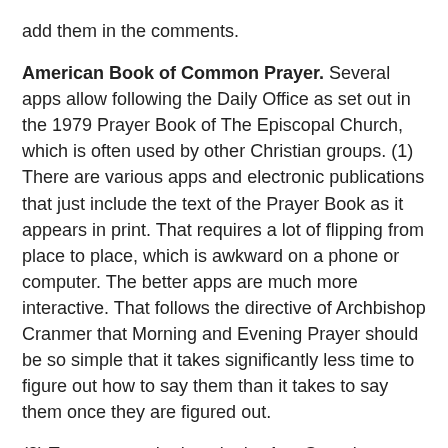add them in the comments.
American Book of Common Prayer. Several apps allow following the Daily Office as set out in the 1979 Prayer Book of The Episcopal Church, which is often used by other Christian groups. (1) There are various apps and electronic publications that just include the text of the Prayer Book as it appears in print. That requires a lot of flipping from place to place, which is awkward on a phone or computer. The better apps are much more interactive. That follows the directive of Archbishop Cranmer that Morning and Evening Prayer should be so simple that it takes significantly less time to figure out how to say them than it takes to say them once they are figured out.
(2) To my taste, the best in the App Store is Mission St. Clare by Sound Marketing, LLC. This provides complete services of Morning and Evening Prayer (Rite II) in both English and Spanish for yesterday, today, and tomorrow. There are few decisions to make. All that is needed is to click on one of the four main buttons and the chosen service appears ready to be prayed from top to bottom, with all the propers in their proper places. Spanish Morning Prayer also includes the Midday Office, and Spanish